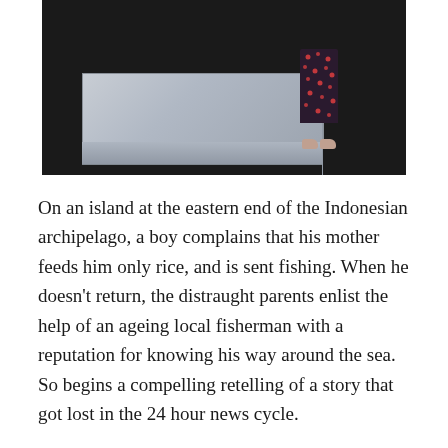[Figure (photo): A theatrical stage scene showing a large rectangular white/grey box-like set piece on a dark stage, with a person standing to the right wearing dark patterned pants and light shoes.]
On an island at the eastern end of the Indonesian archipelago, a boy complains that his mother feeds him only rice, and is sent fishing. When he doesn't return, the distraught parents enlist the help of an ageing local fisherman with a reputation for knowing his way around the sea. So begins a compelling retelling of a story that got lost in the 24 hour news cycle.
Sandra Thibodeaux's engaging script was developed with the help of the Indonesian families unwittingly caught up in a political game that could hardly be more remote from their world. Rather than a land girt by sea, this Australia, as experienced by this unprepared boy, is as confusing